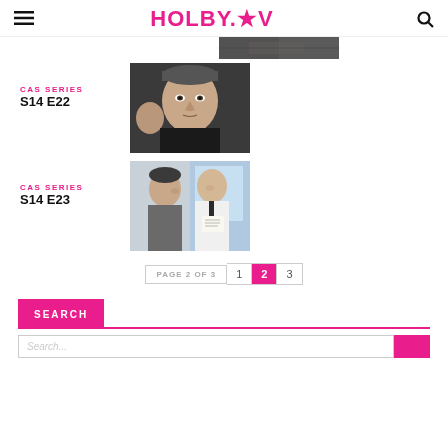HOLBY.TV
[Figure (photo): Partial view of a TV show scene, cropped at top]
CAS SERIES
S14 E22
[Figure (photo): Close-up portrait of a male actor in a black shirt, looking intensely at camera]
CAS SERIES
S14 E23
[Figure (photo): Two men in a hospital setting, one in a grey jacket, one in a white uniform holding papers]
PAGE 2 OF 3  1  2  3
SEARCH